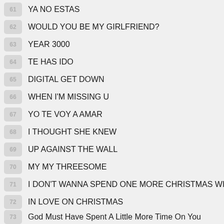YA NO ESTAS
WOULD YOU BE MY GIRLFRIEND?
YEAR 3000
TE HAS IDO
DIGITAL GET DOWN
WHEN I'M MISSING U
YO TE VOY A AMAR
I THOUGHT SHE KNEW
UP AGAINST THE WALL
MY MY THREESOME
I DON'T WANNA SPEND ONE MORE CHRISTMAS WITHOUT
IN LOVE ON CHRISTMAS
God Must Have Spent A Little More Time On You
CELEBRITY